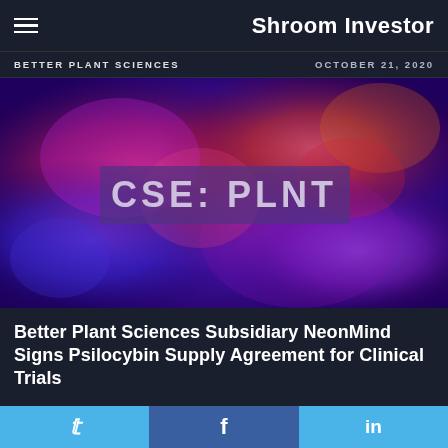Shroom Investor
BETTER PLANT SCIENCES
OCTOBER 21, 2020
[Figure (photo): Psychedelic colorful mushroom/plant image with purple, blue and red hues, overlaid with text 'CSE: PLNT' in a semi-transparent purple banner]
Better Plant Sciences Subsidiary NeonMind Signs Psilocybin Supply Agreement for Clinical Trials